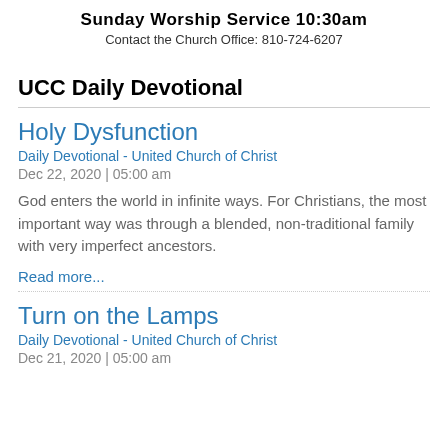Sunday Worship Service 10:30am
Contact the Church Office: 810-724-6207
UCC Daily Devotional
Holy Dysfunction
Daily Devotional - United Church of Christ
Dec 22, 2020 | 05:00 am
God enters the world in infinite ways. For Christians, the most important way was through a blended, non-traditional family with very imperfect ancestors.
Read more...
Turn on the Lamps
Daily Devotional - United Church of Christ
Dec 21, 2020 | 05:00 am